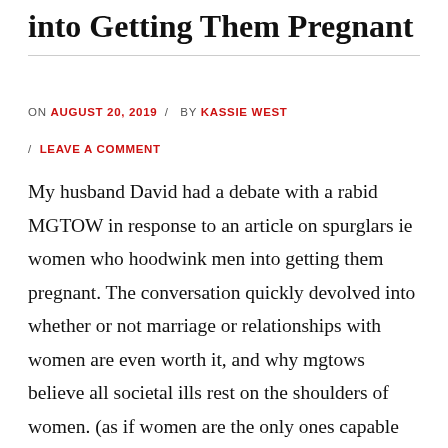into Getting Them Pregnant
ON AUGUST 20, 2019 / BY KASSIE WEST / LEAVE A COMMENT
My husband David had a debate with a rabid MGTOW in response to an article on spurglars ie women who hoodwink men into getting them pregnant. The conversation quickly devolved into whether or not marriage or relationships with women are even worth it, and why mgtows believe all societal ills rest on the shoulders of women. (as if women are the only ones capable of sin)